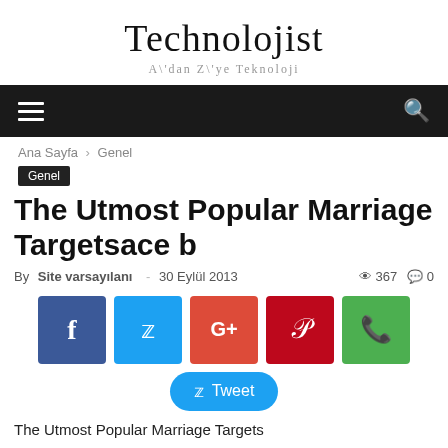Technolojist
A\'dan Z\'ye Teknoloji
Ana Sayfa › Genel
Genel
The Utmost Popular Marriage Targetsace b
By Site varsayılanı - 30 Eylül 2013  367  0
[Figure (infographic): Social share buttons: Facebook (f), Twitter (bird), Google+ (G+), Pinterest (P), WhatsApp (phone icon), and a Tweet button below]
The Utmost Popular Marriage Targets